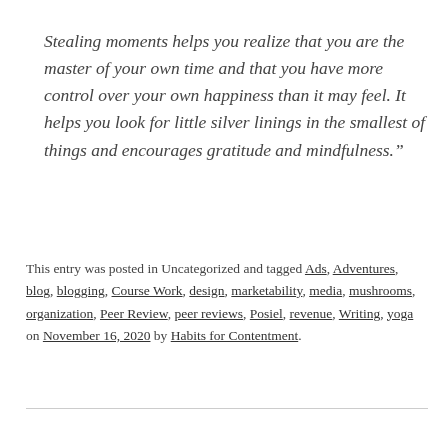Stealing moments helps you realize that you are the master of your own time and that you have more control over your own happiness than it may feel. It helps you look for little silver linings in the smallest of things and encourages gratitude and mindfulness.”
This entry was posted in Uncategorized and tagged Ads, Adventures, blog, blogging, Course Work, design, marketability, media, mushrooms, organization, Peer Review, peer reviews, Posiel, revenue, Writing, yoga on November 16, 2020 by Habits for Contentment.